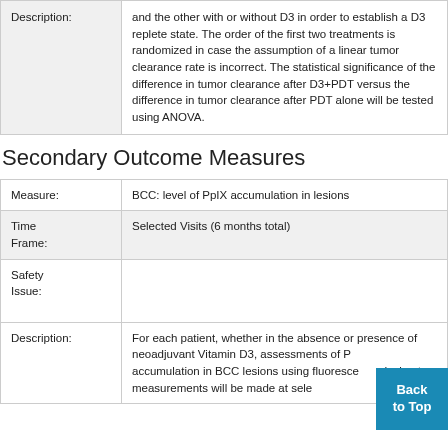| Description: |  |
| --- | --- |
| Description: | and the other with or without D3 in order to establish a D3 replete state. The order of the first two treatments is randomized in case the assumption of a linear tumor clearance rate is incorrect. The statistical significance of the difference in tumor clearance after D3+PDT versus the difference in tumor clearance after PDT alone will be tested using ANOVA. |
Secondary Outcome Measures
| Measure: | BCC: level of PpIX accumulation in lesions |
| Time Frame: | Selected Visits (6 months total) |
| Safety Issue: |  |
| Description: | For each patient, whether in the absence or presence of neoadjuvant Vitamin D3, assessments of PpIX accumulation in BCC lesions using fluorescence dosimetry measurements will be made at selected visits. |